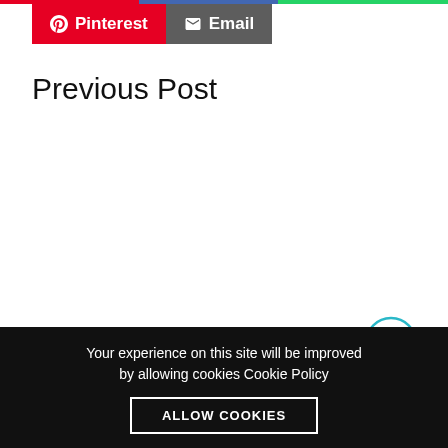[Figure (other): Social share buttons: Pinterest (red) and Email (gray)]
Previous Post
[Figure (other): Scroll to top circular button with upward chevron arrow, teal/cyan border]
Your experience on this site will be improved by allowing cookies Cookie Policy
ALLOW COOKIES